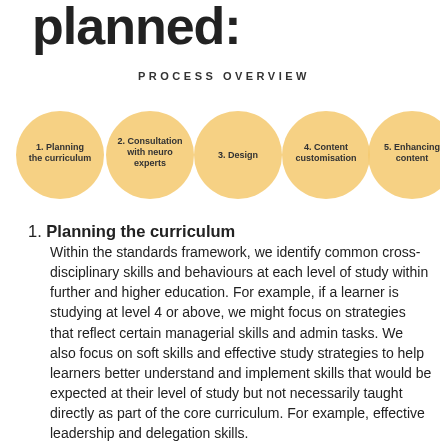planned:
PROCESS OVERVIEW
[Figure (infographic): Five yellow circles in a row representing process steps: 1. Planning the curriculum, 2. Consultation with neuro experts, 3. Design, 4. Content customisation, 5. Enhancing content]
1. Planning the curriculum
Within the standards framework, we identify common cross-disciplinary skills and behaviours at each level of study within further and higher education. For example, if a learner is studying at level 4 or above, we might focus on strategies that reflect certain managerial skills and admin tasks. We also focus on soft skills and effective study strategies to help learners better understand and implement skills that would be expected at their level of study but not necessarily taught directly as part of the core curriculum. For example, effective leadership and delegation skills.